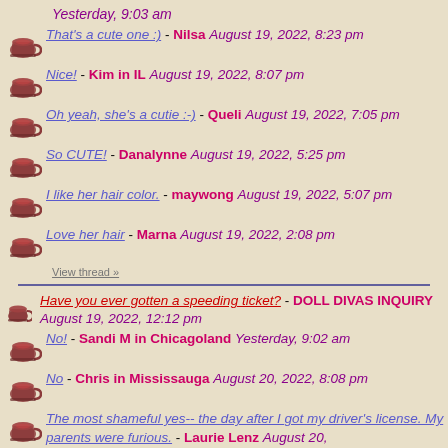Yesterday, 9:03 am
That's a cute one :) - Nilsa August 19, 2022, 8:23 pm
Nice! - Kim in IL August 19, 2022, 8:07 pm
Oh yeah, she's a cutie :-) - Queli August 19, 2022, 7:05 pm
So CUTE! - Danalynne August 19, 2022, 5:25 pm
I like her hair color. - maywong August 19, 2022, 5:07 pm
Love her hair - Marna August 19, 2022, 2:08 pm
View thread »
Have you ever gotten a speeding ticket? - DOLL DIVAS INQUIRY August 19, 2022, 12:12 pm
No! - Sandi M in Chicagoland Yesterday, 9:02 am
No - Chris in Mississauga August 20, 2022, 8:08 pm
The most shameful yes-- the day after I got my driver's license. My parents were furious. - Laurie Lenz August 20,